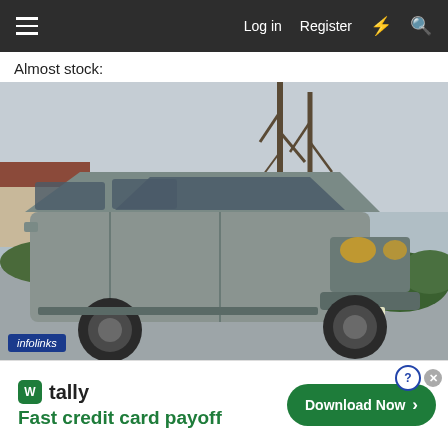Log in  Register
Almost stock:
[Figure (photo): A silver/grey Mercury Mountaineer SUV parked in a driveway in front of a house with bare trees in the background. The vehicle is facing slightly right, showing front and driver-side view. There is a blue 'infolinks' badge overlay in the bottom-left corner of the image.]
[Figure (infographic): Advertisement banner for 'tally' app. Shows green tally logo icon, the text 'tally' in bold, and tagline 'Fast credit card payoff' in green. On the right is a green rounded button saying 'Download Now' with an arrow. Top right has close/question buttons.]